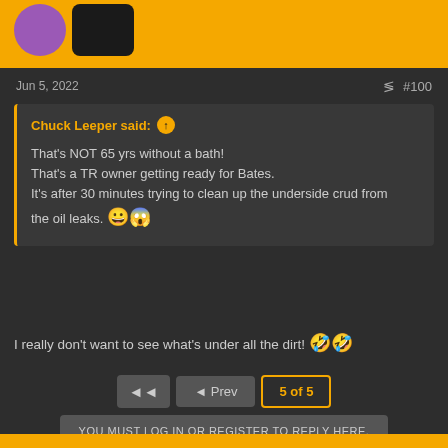[Figure (screenshot): Top banner with yellow background and user avatars (purple circle and dark rectangle)]
Jun 5, 2022
#100
Chuck Leeper said: ↑

That's NOT 65 yrs without a bath!
That's a TR owner getting ready for Bates.
It's after 30 minutes trying to clean up the underside crud from the oil leaks. 😀😱
I really don't want to see what's under all the dirt! 🤣🤣
◄◄   ◄ Prev   5 of 5
YOU MUST LOG IN OR REGISTER TO REPLY HERE.